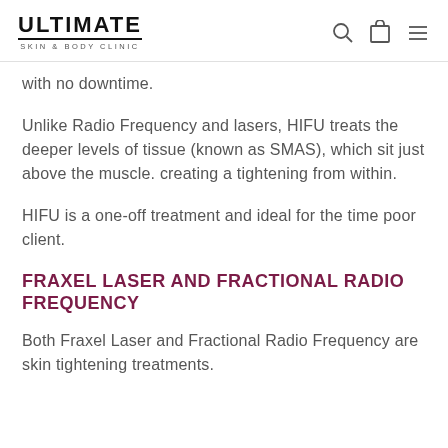ULTIMATE SKIN & BODY CLINIC
with no downtime.
Unlike Radio Frequency and lasers, HIFU treats the deeper levels of tissue (known as SMAS), which sit just above the muscle. creating a tightening from within.
HIFU is a one-off treatment and ideal for the time poor client.
FRAXEL LASER AND FRACTIONAL RADIO FREQUENCY
Both Fraxel Laser and Fractional Radio Frequency are skin tightening treatments.